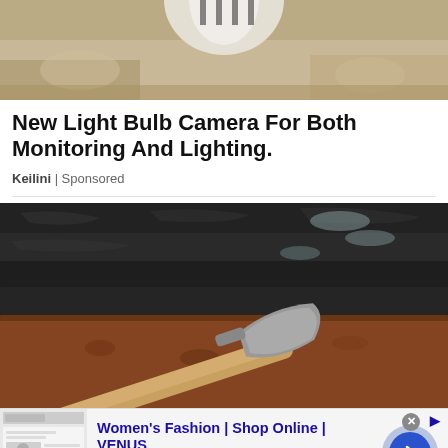[Figure (photo): Top portion of an image showing light bulb or sandy/textured surface at the top of the page]
New Light Bulb Camera For Both Monitoring And Lighting.
Keilini | Sponsored
[Figure (photo): Photo of a roofing shovel or removal tool being used to pry up old dark shingles from a roof, showing deteriorated asphalt shingles and weathered wood underneath]
[Figure (screenshot): Advertisement banner for Women's Fashion | Shop Online | VENUS. Shows a website screenshot thumbnail on the left, ad text in the middle, and a blue arrow button on the right. URL: venus.com]